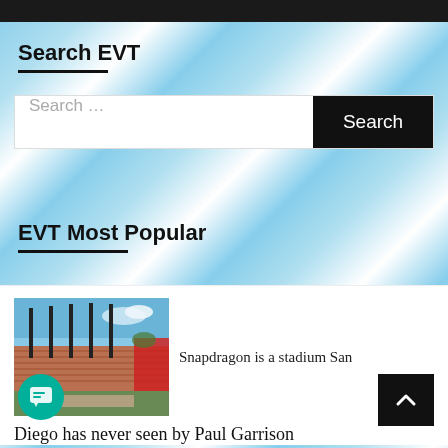Search EVT
Search ...
EVT Most Popular
[Figure (photo): Exterior view of Snapdragon Stadium in San Diego, showing bleachers, lights, and a red flag/banner.]
Snapdragon is a stadium San
Diego has never seen by Paul Garrison